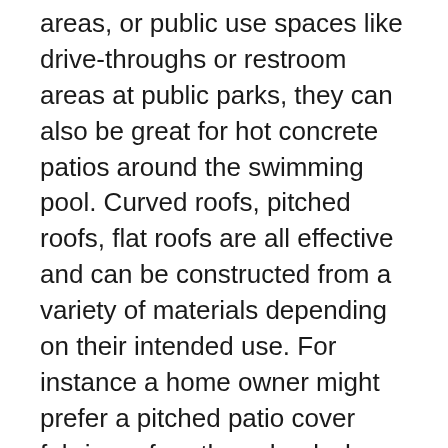areas, or public use spaces like drive-throughs or restroom areas at public parks, they can also be great for hot concrete patios around the swimming pool. Curved roofs, pitched roofs, flat roofs are all effective and can be constructed from a variety of materials depending on their intended use. For instance a home owner might prefer a pitched patio cover fabric roof, or the school where we erected a series of ramadas over the playground. Heavy mesh shade sail fabric or Sunbrella awning fabric, for example can be used as the roof covering. Aluminum covers are effective for commercial uses, but we have also used shade sail mesh fabric for the roof coverings. And should we wish to take it a step further, screening to roll up and down as needed could be installed on the sides to change and extend the use of a ramada. Ver